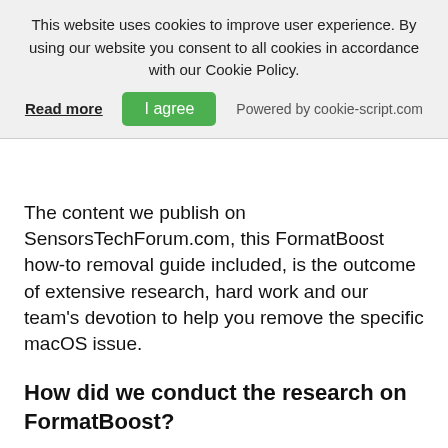This website uses cookies to improve user experience. By using our website you consent to all cookies in accordance with our Cookie Policy.
Read more | I agree | Powered by cookie-script.com
The content we publish on SensorsTechForum.com, this FormatBoost how-to removal guide included, is the outcome of extensive research, hard work and our team's devotion to help you remove the specific macOS issue.
How did we conduct the research on FormatBoost?
Please note that our research is based on an independent investigation. We are in contact with independent security researchers, thanks to which we receive daily updates on the latest malware definitions, including the various types of Mac threats, especially adware and potentially